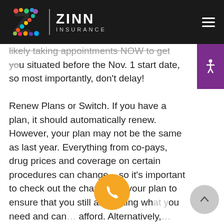[Figure (logo): Zinn Insurance logo with colorful Z and white text on dark background header]
likely taking appointments NOW to get you situated before the Nov. 1 start date, so most importantly, don't delay!
Renew Plans or Switch. If you have a plan, it should automatically renew. However, your plan may not be the same as last year. Everything from co-pays, drug prices and coverage on certain procedures can change – so it's important to check out the changes in your plan to ensure that you still are getting what you need and can afford. Alternatively, you may want to